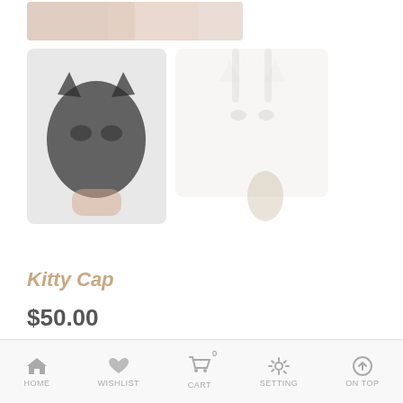[Figure (photo): Product listing page showing kitty cat phone cases and accessories. Top: a pink/beige item (partial). Middle left: black cat-face phone case held in hand. Middle right: white/clear cat-face phone case. Bottom center: silver ring/circle accessory.]
Kitty Cap
$50.00
HOME   WISHLIST   CART   SETTING   ON TOP